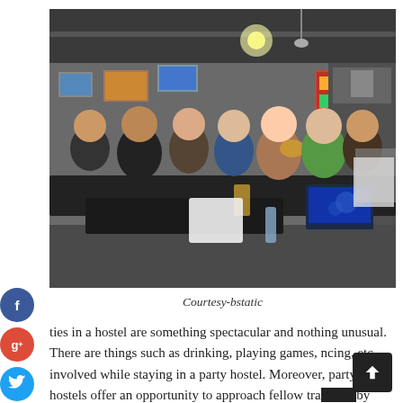[Figure (photo): Group of people gathered around tables in a hostel common room, with drinks, bowls of food, a laptop, and photos on concrete walls; industrial-style ceiling with exposed pipes and light bulb.]
Courtesy-bstatic
ties in a hostel are something spectacular and nothing unusual. There are things such as drinking, playing games, ncing, etc. involved while staying in a party hostel. Moreover, party hostels offer an opportunity to approach fellow tra... by greeting, introducing and talking to them. If you happen... k